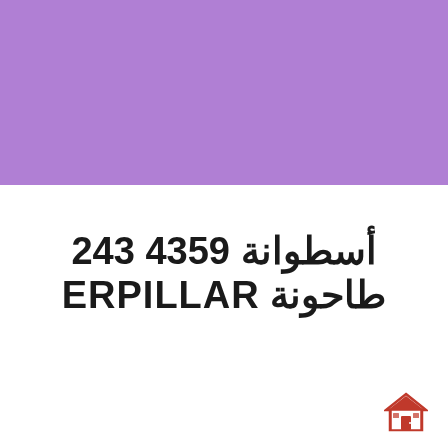[Figure (other): Purple/lilac solid color banner occupying the top portion of the page]
أسطوانة 4359 243 طاحونة ERPILLAR
[Figure (logo): Small house/home icon with red door in bottom right corner]